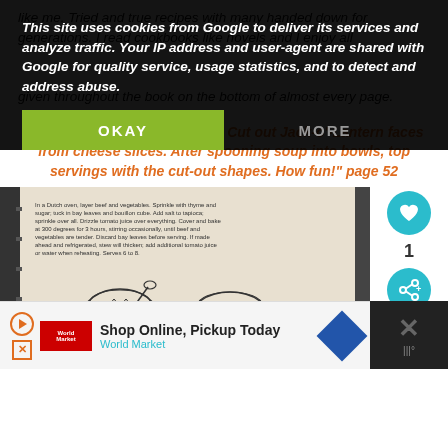This site uses cookies from Google to deliver its services and analyze traffic. Your IP address and user-agent are shared with Google for quality service, usage statistics, and to detect and address abuse.
like me. Tried and true recipes with many handed down for generations. I read cookbooks like novels and I enjoy all given throughout the book on the bottom of almost every page.
"Serving soup to little eaters? Cut out Jack-o'-Lantern faces from cheese slices. After spooning soup into bowls, top servings with the cut-out shapes. How fun!" page 52
[Figure (photo): Photo of a cookbook page showing a recipe and an illustration of jack-o-lantern bowls of soup, with caption text at the bottom]
WHAT'S NEXT → Gooseberry Patch The...
Shop Online, Pickup Today
World Market